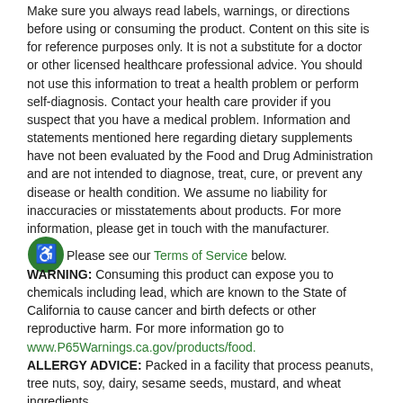Make sure you always read labels, warnings, or directions before using or consuming the product. Content on this site is for reference purposes only. It is not a substitute for a doctor or other licensed healthcare professional advice. You should not use this information to treat a health problem or perform self-diagnosis. Contact your health care provider if you suspect that you have a medical problem. Information and statements mentioned here regarding dietary supplements have not been evaluated by the Food and Drug Administration and are not intended to diagnose, treat, cure, or prevent any disease or health condition. We assume no liability for inaccuracies or misstatements about products. For more information, please get in touch with the manufacturer. Please see our Terms of Service below.
WARNING: Consuming this product can expose you to chemicals including lead, which are known to the State of California to cause cancer and birth defects or other reproductive harm. For more information go to www.P65Warnings.ca.gov/products/food. ALLERGY ADVICE: Packed in a facility that process peanuts, tree nuts, soy, dairy, sesame seeds, mustard, and wheat ingredients.